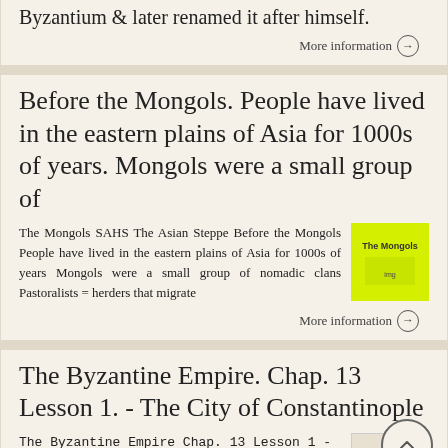Byzantium & later renamed it after himself.
More information →
Before the Mongols. People have lived in the eastern plains of Asia for 1000s of years. Mongols were a small group of
The Mongols SAHS The Asian Steppe Before the Mongols People have lived in the eastern plains of Asia for 1000s of years Mongols were a small group of nomadic clans Pastoralists = herders that migrate
[Figure (illustration): Yellow/green thumbnail image with text 'The Mongols' on it]
More information →
The Byzantine Empire. Chap. 13 Lesson 1. - The City of Constantinople
The Byzantine Empire Chap. 13 Lesson 1 -
[Figure (illustration): Small beige thumbnail image with text 'The Byzantine Empire']